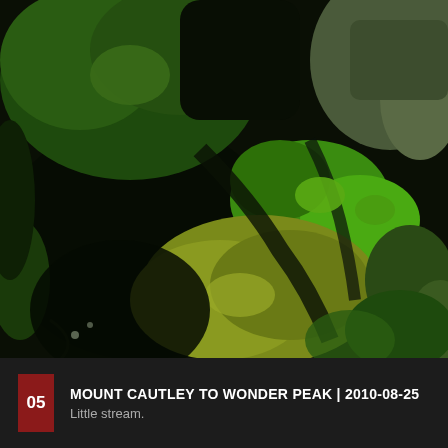[Figure (photo): Close-up photograph of a little mountain stream with moss-covered rocks and green vegetation, taken from above. The rocks are bright green with algae and moss, surrounded by dense grassy plants in sunlight and shadow.]
05 MOUNT CAUTLEY TO WONDER PEAK | 2010-08-25 Little stream.